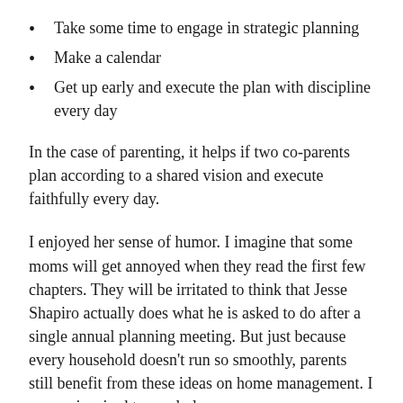Take some time to engage in strategic planning
Make a calendar
Get up early and execute the plan with discipline every day
In the case of parenting, it helps if two co-parents plan according to a shared vision and execute faithfully every day.
I enjoyed her sense of humor. I imagine that some moms will get annoyed when they read the first few chapters. They will be irritated to think that Jesse Shapiro actually does what he is asked to do after a single annual planning meeting. But just because every household doesn’t run so smoothly, parents still benefit from these ideas on home management. I was re-inspired to meal plan.